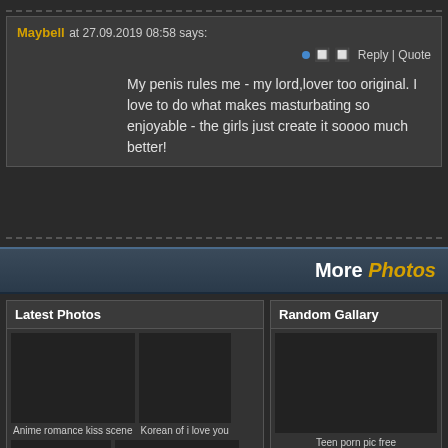Maybell at 27.09.2019 08:58 says: Reply | Quote
My penis rules me - my lord,lover too original. I love to do what makes masturbating so enjoyable - the girls just create it soooo much better!
More Photos
Latest Photos
Anime romance kiss scene
Korean of i love you
Random Gallary
Teen porn pic free
Femmin POW cim reate
Korean i love you what does it
Do korean women give